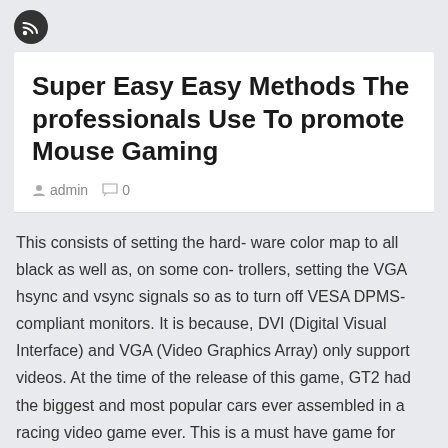[Figure (logo): RSS feed icon — white WiFi/signal symbol on dark circular background]
Super Easy Easy Methods The professionals Use To promote Mouse Gaming
admin  0
This consists of setting the hard- ware color map to all black as well as, on some con- trollers, setting the VGA hsync and vsync signals so as to turn off VESA DPMS-compliant monitors. It is because, DVI (Digital Visual Interface) and VGA (Video Graphics Array) only support videos. At the time of the release of this game, GT2 had the biggest and most popular cars ever assembled in a racing video game ever. This is a must have game for